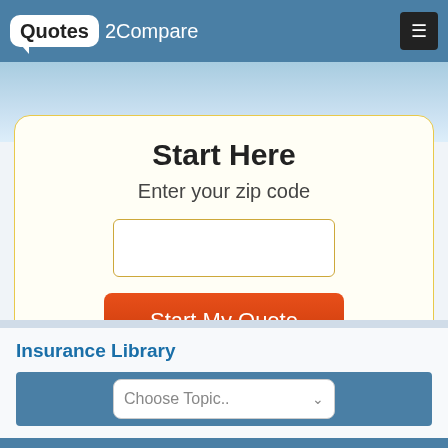Quotes2Compare
Start Here
Enter your zip code
[Figure (screenshot): Zip code input field (empty text box)]
Start My Quote
Insurance Library
Choose Topic..
This Site